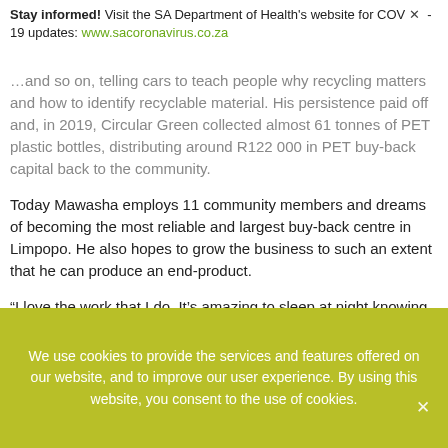Stay informed! Visit the SA Department of Health's website for COVID-19 updates: www.sacoronavirus.co.za
...and so on, telling cars to teach people why recycling matters and how to identify recyclable material. His persistence paid off and, in 2019, Circular Green collected almost 61 tonnes of PET plastic bottles, distributing around R122 000 in PET buy-back capital back to the community.
Today Mawasha employs 11 community members and dreams of becoming the most reliable and largest buy-back centre in Limpopo. He also hopes to grow the business to such an extent that he can produce an end-product.
“I love the work that I do. It’s amazing to sleep at night knowing that you’ve changed someone’s life,” said Mawasha.
We use cookies to provide the services and features offered on our website, and to improve our user experience. By using this website, you consent to the use of cookies.